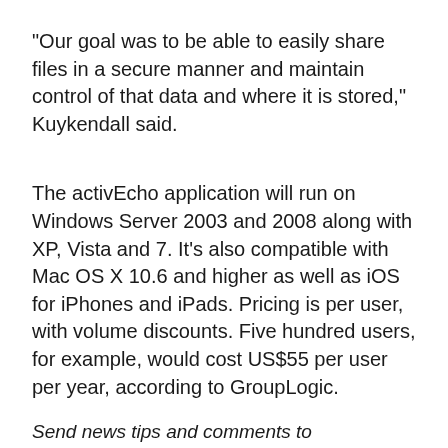“Our goal was to be able to easily share files in a secure manner and maintain control of that data and where it is stored,” Kuykendall said.
The activEcho application will run on Windows Server 2003 and 2008 along with XP, Vista and 7. It’s also compatible with Mac OS X 10.6 and higher as well as iOS for iPhones and iPads. Pricing is per user, with volume discounts. Five hundred users, for example, would cost US$55 per user per year, according to GroupLogic.
Send news tips and comments to jeremy_kirk@idg.com